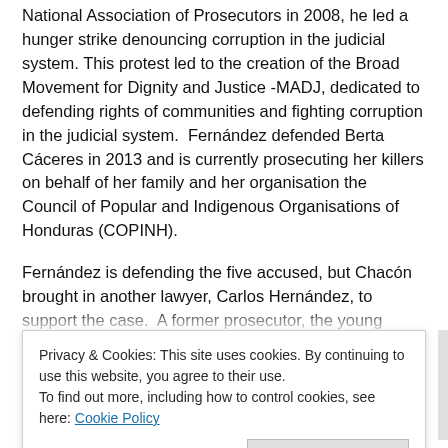National Association of Prosecutors in 2008, he led a hunger strike denouncing corruption in the judicial system. This protest led to the creation of the Broad Movement for Dignity and Justice -MADJ, dedicated to defending rights of communities and fighting corruption in the judicial system.  Fernández defended Berta Cáceres in 2013 and is currently prosecuting her killers on behalf of her family and her organisation the Council of Popular and Indigenous Organisations of Honduras (COPINH).
Fernández is defending the five accused, but Chacón brought in another lawyer, Carlos Hernández, to support the case.  A former prosecutor, the young Hernández was shot dead in his office on April 10, 2018, less than a month after joining the defence team. Area residents fear his murder may have been an attempt by INGELSA to stop Arnoldo Chacón from saving the river for residents of Arizona. Just a few months before, on September 13, 2017, while Chacon...
Privacy & Cookies: This site uses cookies. By continuing to use this website, you agree to their use.
To find out more, including how to control cookies, see here: Cookie Policy
annulling the results of a 2015 municipal referendum which had